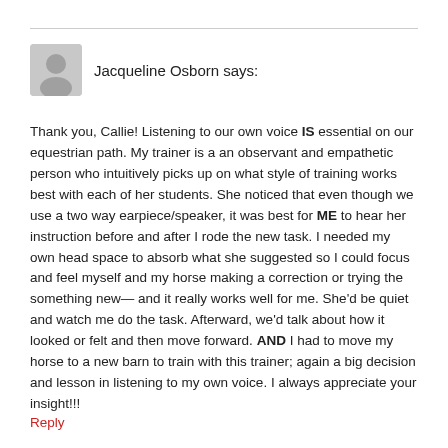Jacqueline Osborn says:
Thank you, Callie! Listening to our own voice IS essential on our equestrian path. My trainer is a an observant and empathetic person who intuitively picks up on what style of training works best with each of her students. She noticed that even though we use a two way earpiece/speaker, it was best for ME to hear her instruction before and after I rode the new task. I needed my own head space to absorb what she suggested so I could focus and feel myself and my horse making a correction or trying the something new— and it really works well for me. She'd be quiet and watch me do the task. Afterward, we'd talk about how it looked or felt and then move forward. AND I had to move my horse to a new barn to train with this trainer; again a big decision and lesson in listening to my own voice. I always appreciate your insight!!!
Reply